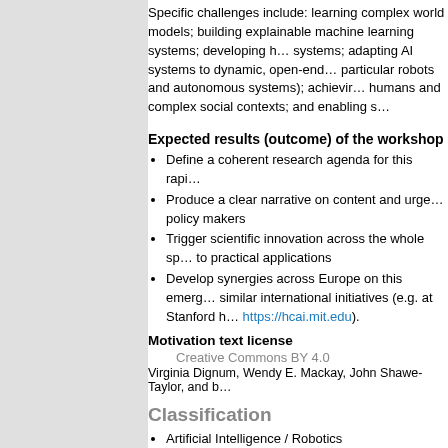Specific challenges include: learning complex world models; building explainable machine learning systems; developing human-aware AI systems; adapting AI systems to dynamic, open-ended environments (in particular robots and autonomous systems); achieving meaningful interaction between humans and complex social contexts; and enabling s…
Expected results (outcome) of the workshop
Define a coherent research agenda for this rapi…
Produce a clear narrative on content and urge… policy makers
Trigger scientific innovation across the whole sp… to practical applications
Develop synergies across Europe on this emerg… similar international initiatives (e.g. at Stanford h… https://hcai.mit.edu).
Motivation text license
Creative Commons BY 4.0
Virginia Dignum, Wendy E. Mackay, John Shawe-Taylor, and b…
Classification
Artificial Intelligence / Robotics
Keywords
Artificial Intelligence